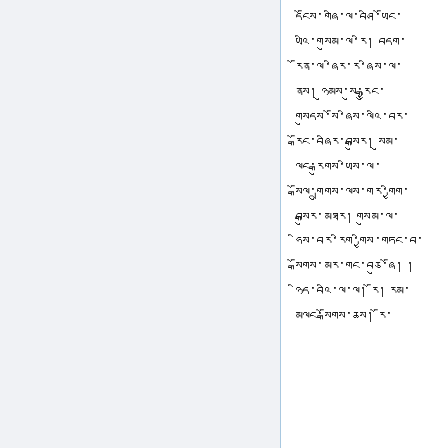དངོས་གཞི་ལ་བཤི་ཡོང་ ཡའི་གསུམ་ལ་རི། བདག་ རོན་ལ་ཞིར་ར་ཞིས་ལ་ ནས། ཉུམས་སུ་རྒྱུང་ གསུདས་སོ་ཞིས་ལའི་བར་ རྒོང་བཞིར་བསྒུར། སུམ་ ལང་རྒུགས་ཡིས་ལ་ སྒོལ་གྲུགས་ལས་གར་གྱིག་ བསྒུར་མཐར། གསུམ་ལ་ ཧིས་བར་རིག་གྱིས་གཏང་བ་ སྒོགས་མར་གང་བཅུ་ཞོ། ། ཉིད་བའི་ལ་ལ། རོ། རམ་ མལང་སྒོགས་ཆས། རོ་